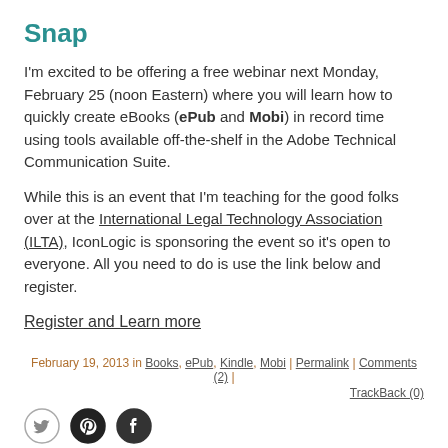Snap
I'm excited to be offering a free webinar next Monday, February 25 (noon Eastern) where you will learn how to quickly create eBooks (ePub and Mobi) in record time using tools available off-the-shelf in the Adobe Technical Communication Suite.
While this is an event that I'm teaching for the good folks over at the International Legal Technology Association (ILTA), IconLogic is sponsoring the event so it's open to everyone. All you need to do is use the link below and register.
Register and Learn more
February 19, 2013 in Books, ePub, Kindle, Mobi | Permalink | Comments (2) | TrackBack (0)